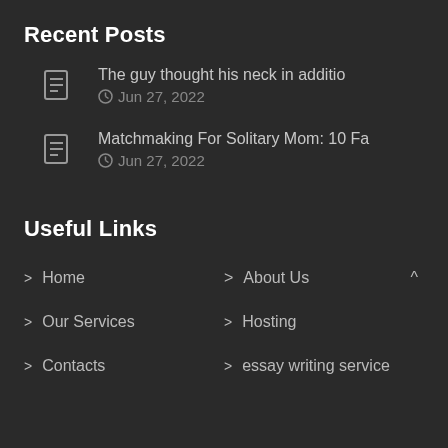Recent Posts
The guy thought his neck in additio
Jun 27, 2022
Matchmaking For Solitary Mom: 10 Fa
Jun 27, 2022
Useful Links
Home
About Us
Our Services
Hosting
Contacts
essay writing service